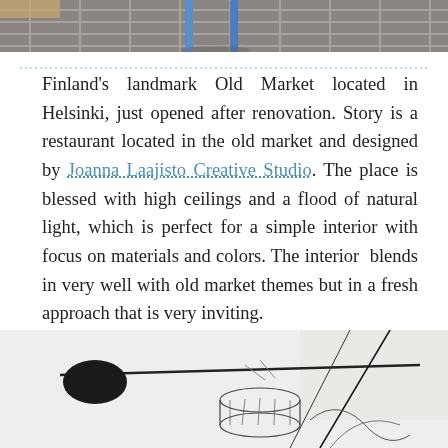[Figure (photo): Top portion of a photo showing a blue stool on a tiled floor with dark grout lines]
Finland's landmark Old Market located in Helsinki, just opened after renovation. Story is a restaurant located in the old market and designed by Joanna Laajisto Creative Studio. The place is blessed with high ceilings and a flood of natural light, which is perfect for a simple interior with focus on materials and colors. The interior blends in very well with old market themes but in a fresh approach that is very inviting.
[Figure (photo): Interior photo showing artistic wire sculpture and hanging lamp with black cord against white wall and window background]